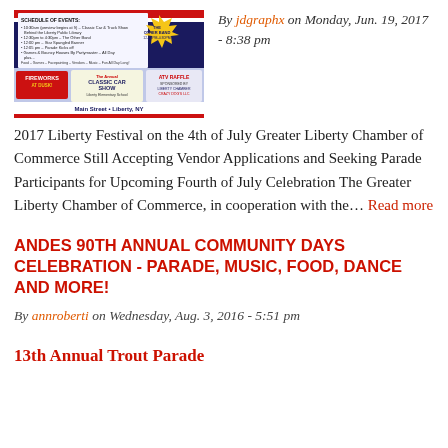[Figure (photo): Flyer for 2017 Liberty Festival Classic Car Show and ATV Raffle event on Main Street, Liberty NY with fireworks at dusk]
By jdgraphx on Monday, Jun. 19, 2017 - 8:38 pm
2017 Liberty Festival on the 4th of July Greater Liberty Chamber of Commerce Still Accepting Vendor Applications and Seeking Parade Participants for Upcoming Fourth of July Celebration The Greater Liberty Chamber of Commerce, in cooperation with the... Read more
ANDES 90TH ANNUAL COMMUNITY DAYS CELEBRATION - PARADE, MUSIC, FOOD, DANCE AND MORE!
By annroberti on Wednesday, Aug. 3, 2016 - 5:51 pm
13th Annual Trout Parade